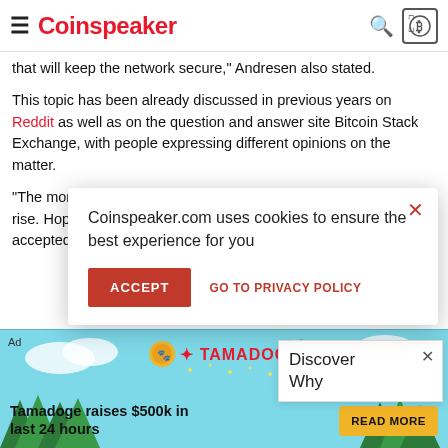Coinspeaker
that will keep the network secure," Andresen also stated.
This topic has been already discussed in previous years on Reddit as well as on the question and answer site Bitcoin Stack Exchange, with people expressing different opinions on the matter.
"The more people continue to adopt it the price will continue to rise. Hopefully bitco… accepted world-wid… more people adopti… continue to rise, lea… that will be worth w…"
one of the posts rea…
[Figure (screenshot): Cookie consent modal overlay: 'Coinspeaker.com uses cookies to ensure the best experience for you' with ACCEPT button and GO TO PRIVACY POLICY link]
[Figure (screenshot): Discover Why widget panel at right side]
[Figure (screenshot): Small ad at bottom left with coin/arrow graphics on blue background]
[Figure (screenshot): Bottom banner ad for Tamadoge: 'Tamadoge raises $500k in last 24 hours' with READ MORE button on teal background with trees]